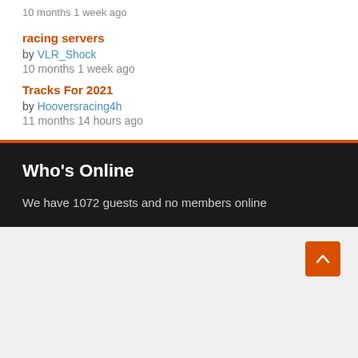10 months 1 week ago
racing servers
by VLR_Shock
10 months 1 week ago
Tracks For 2021
by Hooversracing4h
11 months 14 hours ago
Who's Online
We have 1072 guests and no members online